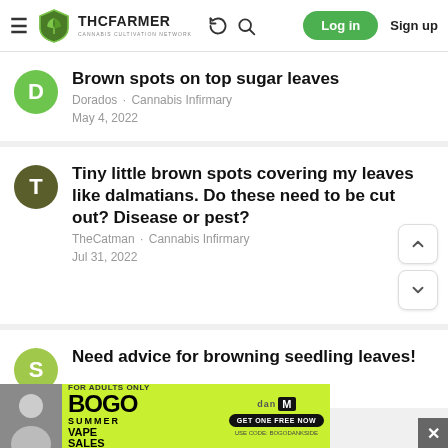THCFarmer - Cannabis Cultivation Network | Log in | Sign up
Brown spots on top sugar leaves
Dorados · Cannabis Infirmary
May 4, 2022
Tiny little brown spots covering my leaves like dalmatians. Do these need to be cut out? Disease or pest?
TheCatman · Cannabis Infirmary
Jul 31, 2022
Need advice for browning seedling leaves!
[Figure (screenshot): BOGO Summer Vape Sales advertisement banner with a person photo on the left, green background, black bold BOGO text, and a DanM logo.]